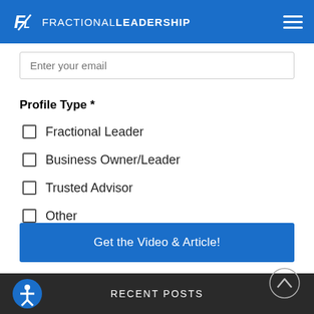FRACTIONALLEADERSHIP
Enter your email
Profile Type *
Fractional Leader
Business Owner/Leader
Trusted Advisor
Other
Get the Video & Article!
powered by MailMunch
RECENT POSTS